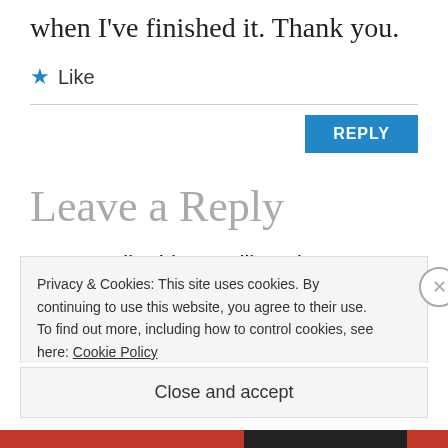when I've finished it. Thank you.
★ Like
REPLY
Leave a Reply
Your email address will not be published.
Required fields are marked *
Privacy & Cookies: This site uses cookies. By continuing to use this website, you agree to their use.
To find out more, including how to control cookies, see here: Cookie Policy
Close and accept